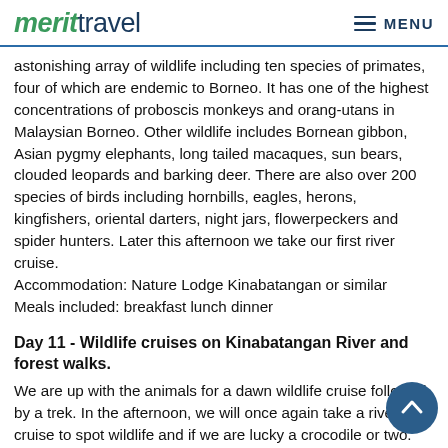merit travel   MENU
astonishing array of wildlife including ten species of primates, four of which are endemic to Borneo. It has one of the highest concentrations of proboscis monkeys and orang-utans in Malaysian Borneo. Other wildlife includes Bornean gibbon, Asian pygmy elephants, long tailed macaques, sun bears, clouded leopards and barking deer. There are also over 200 species of birds including hornbills, eagles, herons, kingfishers, oriental darters, night jars, flowerpeckers and spider hunters. Later this afternoon we take our first river cruise.
Accommodation: Nature Lodge Kinabatangan or similar
Meals included: breakfast lunch dinner
Day 11 - Wildlife cruises on Kinabatangan River and forest walks.
We are up with the animals for a dawn wildlife cruise followed by a trek. In the afternoon, we will once again take a river cruise to spot wildlife and if we are lucky a crocodile or two.
Accommodation: Nature Lodge Kinabatangan or similar